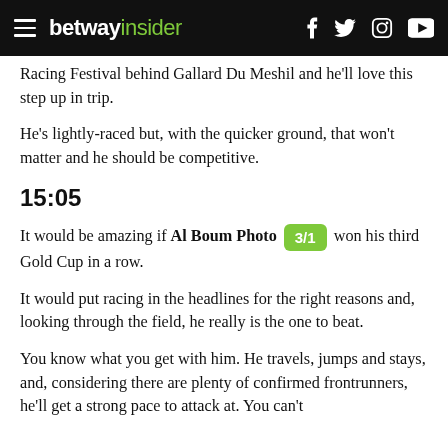betway insider
Racing Festival behind Gallard Du Meshil and he'll love this step up in trip.
He's lightly-raced but, with the quicker ground, that won't matter and he should be competitive.
15:05
It would be amazing if Al Boum Photo [3/1] won his third Gold Cup in a row.
It would put racing in the headlines for the right reasons and, looking through the field, he really is the one to beat.
You know what you get with him. He travels, jumps and stays, and, considering there are plenty of confirmed frontrunners, he'll get a strong pace to attack at. You can't